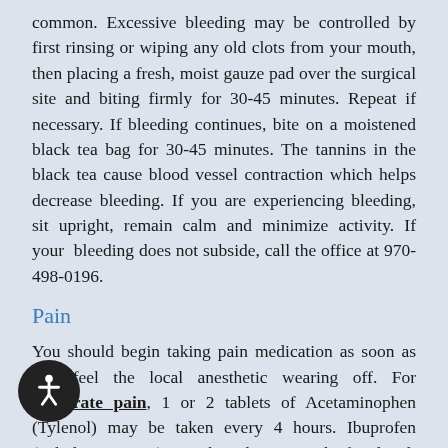common. Excessive bleeding may be controlled by first rinsing or wiping any old clots from your mouth, then placing a fresh, moist gauze pad over the surgical site and biting firmly for 30-45 minutes. Repeat if necessary. If bleeding continues, bite on a moistened black tea bag for 30-45 minutes. The tannins in the black tea cause blood vessel contraction which helps decrease bleeding. If you are experiencing bleeding, sit upright, remain calm and minimize activity. If your bleeding does not subside, call the office at 970-498-0196.
Pain
You should begin taking pain medication as soon as you feel the local anesthetic wearing off. For moderate pain, 1 or 2 tablets of Acetaminophen (Tylenol) may be taken every 4 hours. Ibuprofen (Advil or Motrin) may be taken instead of Tylenol. Ibuprofen, bought over the counter comes in 200 mg tablets: 2-3 tablets may be taken every 6 hours as needed for pain. For more severe pain, your doctor may prescribe medication.